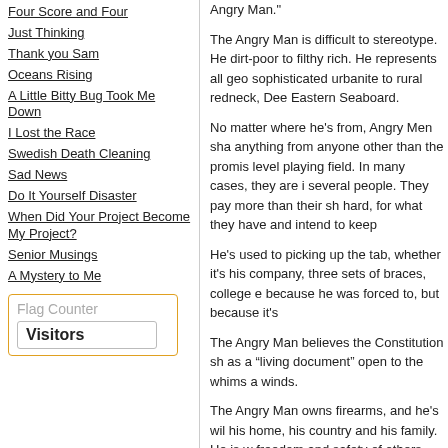Four Score and Four
Just Thinking
Thank you Sam
Oceans Rising
A Little Bitty Bug Took Me Down
I Lost the Race
Swedish Death Cleaning
Sad News
Do It Yourself Disaster
When Did Your Project Become My Project?
Senior Musings
A Mystery to Me
Flag Counter
Visitors
Angry Man."
The Angry Man is difficult to stereotype. He dirt-poor to filthy rich. He represents all geo sophisticated urbanite to rural redneck, Dee Eastern Seaboard.

No matter where he's from, Angry Men sha anything from anyone other than the promis level playing field. In many cases, they are i several people. They pay more than their sh hard, for what they have and intend to keep

He's used to picking up the tab, whether it's his company, three sets of braces, college e because he was forced to, but because it's

The Angry Man believes the Constitution sh as a “living document” open to the whims a winds.

The Angry Man owns firearms, and he's wil his home, his country and his family. He is w freedom and safety of others, and the thou those goals gives him only momentary paus

The Angry Man is not, and never will be, a v Katrina. He got his people together and go